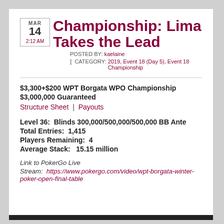Championship: Lima Takes the Lead
MAR 14  2:12 AM  POSTED BY: kaelaine  |  CATEGORY: 2019, Event 18 (Day 5), Event 18 Championship
$3,300+$200 WPT Borgata WPO Championship
$3,000,000 Guaranteed
Structure Sheet | Payouts
Level 36:  Blinds 300,000/500,000/500,000 BB Ante
Total Entries:  1,415
Players Remaining:  4
Average Stack:   15.15 million
Link to PokerGo Live Stream:  https://www.pokergo.com/video/wpt-borgata-winter-poker-open-final-table